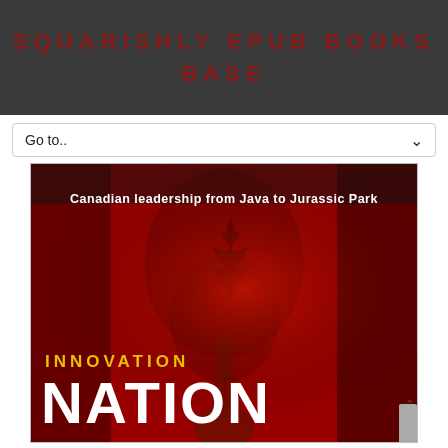SQUARISHLY EPUB BOOKS BASE
Go to..
[Figure (photo): Book cover of 'Innovation Nation: Canadian leadership from Java to Jurassic Park'. Red-toned image of a person holding a maple leaf in front of their face. Bottom portion shows 'INNOVATION' in yellow bold text and 'NATION' in very large white bold text.]